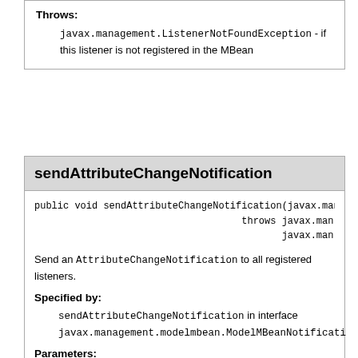Throws:
javax.management.ListenerNotFoundException - if this listener is not registered in the MBean
sendAttributeChangeNotification
public void sendAttributeChangeNotification(javax.man
                                    throws javax.man
                                           javax.man
Send an AttributeChangeNotification to all registered listeners.
Specified by:
sendAttributeChangeNotification in interface javax.management.modelmbean.ModelMBeanNotificati
Parameters:
notification - The AttributeChangeNotification that will be passed
Throws:
javax.management.MBeanException - if an object initializer throws an exception
javax.management.RuntimeOperationsException -